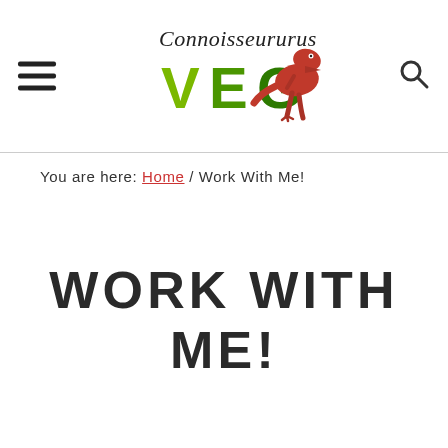Connoisseururs VEG [logo with T-Rex dinosaur]
You are here: Home / Work With Me!
WORK WITH ME!